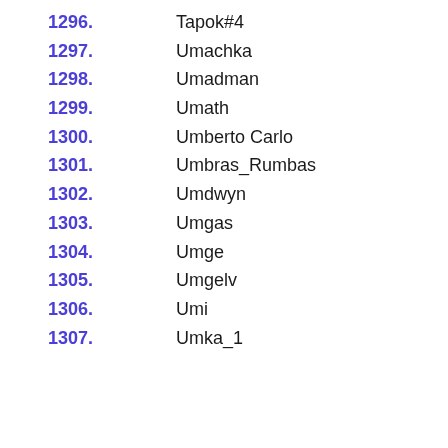1296. Tapok#4
1297. Umachka
1298. Umadman
1299. Umath
1300. Umberto Carlo
1301. Umbras_Rumbas
1302. Umdwyn
1303. Umgas
1304. Umge
1305. Umgelv
1306. Umi
1307. Umka_1